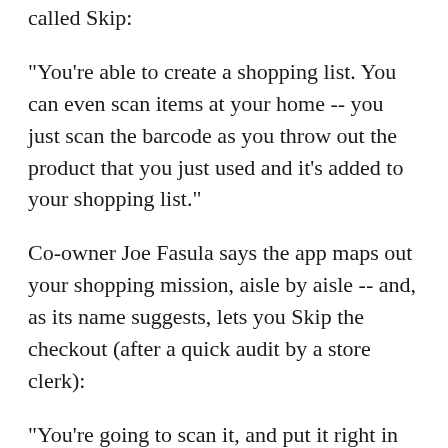called Skip:
"You're able to create a shopping list. You can even scan items at your home -- you just scan the barcode as you throw out the product that you just used and it's added to your shopping list."
Co-owner Joe Fasula says the app maps out your shopping mission, aisle by aisle -- and, as its name suggests, lets you Skip the checkout (after a quick audit by a store clerk):
"You're going to scan it, and put it right in your basket or in a bag. When you're done, you're going to finalize the order on your device. The entire transaction is going to be completed in the cloud either through your credit card that you've registered or your bank account, and you're done."